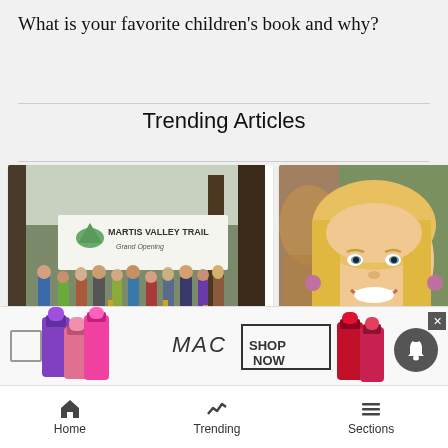What is your favorite children’s book and why?
Trending Articles
[Figure (photo): Group of people at the Martis Valley Trail Grand Opening ribbon cutting ceremony outdoors with a banner.]
Newly-opened paved trail connects Truckee to Northstar
[Figure (photo): Close-up of a smiling young woman with long blonde hair at an outdoor event.]
Diving group claims to f missing Truckee teenage
[Figure (photo): MAC cosmetics advertisement showing lipsticks with SHOP NOW button.]
Home   Trending   Sections